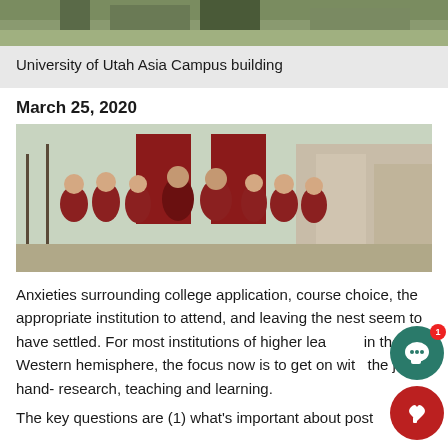[Figure (photo): Top portion of University of Utah Asia Campus building exterior]
University of Utah Asia Campus building
March 25, 2020
[Figure (photo): Group of students wearing red University of Utah letterman jackets posing in front of large red U of U logo letters on campus]
Anxieties surrounding college application, course choice, the appropriate institution to attend, and leaving the nest seem to have settled. For most institutions of higher learning in the Western hemisphere, the focus now is to get on with the job at hand- research, teaching and learning.
The key questions are (1) what's important about post